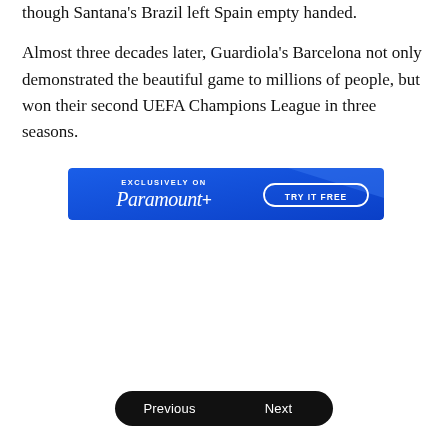though Santana's Brazil left Spain empty handed.
Almost three decades later, Guardiola's Barcelona not only demonstrated the beautiful game to millions of people, but won their second UEFA Champions League in three seasons.
[Figure (other): Paramount+ advertisement banner. Blue background with white text reading 'EXCLUSIVELY ON Paramount+' in script and sans-serif font, with a 'TRY IT FREE' button on the right.]
Previous | Next